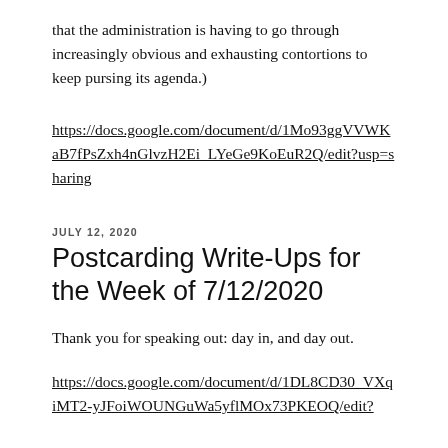that the administration is having to go through increasingly obvious and exhausting contortions to keep pursing its agenda.)
https://docs.google.com/document/d/1Mo93ggVVWKaB7fPsZxh4nGlvzH2Ei_LYeGe9KoEuR2Q/edit?usp=sharing
JULY 12, 2020
Postcarding Write-Ups for the Week of 7/12/2020
Thank you for speaking out: day in, and day out.
https://docs.google.com/document/d/1DL8CD30_VXqiMT2-yJFoiWOUNGuWa5yflMOx73PKEOQ/edit?